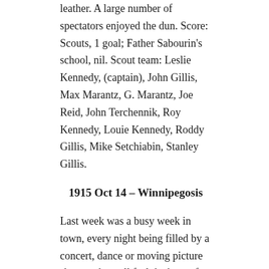leather. A large number of spectators enjoyed the dun. Score: Scouts, 1 goal; Father Sabourin's school, nil. Scout team: Leslie Kennedy, (captain), John Gillis, Max Marantz, G. Marantz, Joe Reid, John Terchennik, Roy Kennedy, Louie Kennedy, Roddy Gillis, Mike Setchiabin, Stanley Gillis.
1915 Oct 14 – Winnipegosis
Last week was a busy week in town, every night being filled by a concert, dance or moving picture show and we all feel the better for it. There was a most enjoyable dance in honour of our soldier boys on he occasion of their leaving for their regiment. Everybody was there and seemed to have a great time.
On Wednesday evening Mr. and Mrs. Sid. Coffey gave